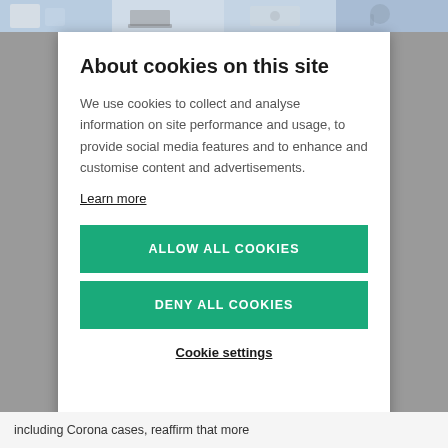[Figure (photo): Photo strip at top of page showing medical/laboratory images including equipment and a person wearing a stethoscope]
About cookies on this site
We use cookies to collect and analyse information on site performance and usage, to provide social media features and to enhance and customise content and advertisements.
Learn more
ALLOW ALL COOKIES
DENY ALL COOKIES
Cookie settings
including Corona cases, reaffirm that more